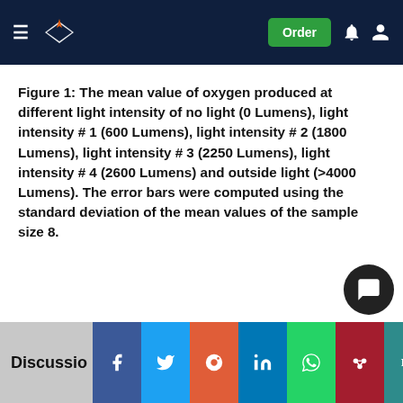Order
Figure 1: The mean value of oxygen produced at different light intensity of no light (0 Lumens), light intensity # 1 (600 Lumens), light intensity # 2 (1800 Lumens), light intensity # 3 (2250 Lumens), light intensity # 4 (2600 Lumens) and outside light (>4000 Lumens). The error bars were computed using the standard deviation of the mean values of the sample size 8.
Discussion